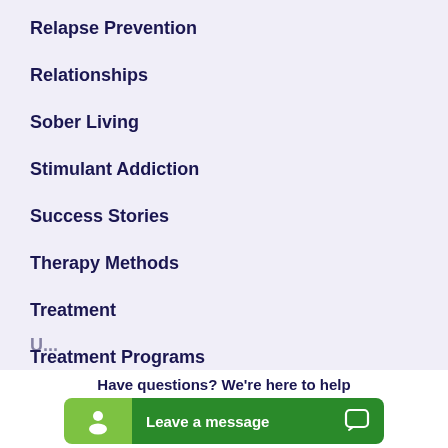Relapse Prevention
Relationships
Sober Living
Stimulant Addiction
Success Stories
Therapy Methods
Treatment
Treatment Programs
Have questions? We're here to help
Leave a message